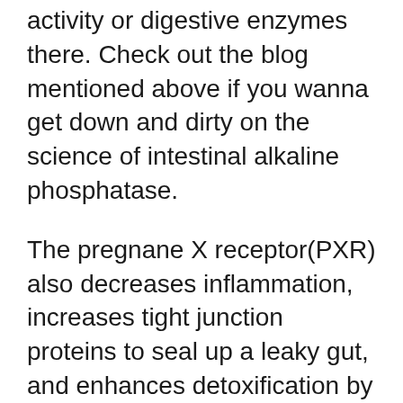activity or digestive enzymes there. Check out the blog mentioned above if you wanna get down and dirty on the science of intestinal alkaline phosphatase.
The pregnane X receptor(PXR) also decreases inflammation, increases tight junction proteins to seal up a leaky gut, and enhances detoxification by spitting toxins back in to the intestine.  It also makes the gut less sensitive to endotoxin by reducing the number of receptors for it.  I also covered the finer points of PXR in this other blog.